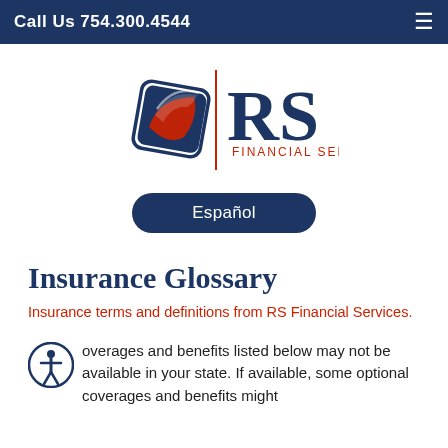Call Us 754.300.4544
[Figure (logo): RS Financial Services logo with diamond shape containing red and navy swoosh/credit card design, vertical red divider line, and RS Financial Services text in navy]
Español
Insurance Glossary
Insurance terms and definitions from RS Financial Services.
overages and benefits listed below may not be available in your state. If available, some optional coverages and benefits might